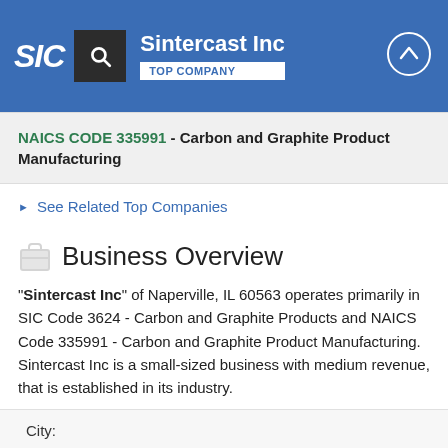Sintercast Inc — TOP COMPANY
NAICS CODE 335991 - Carbon and Graphite Product Manufacturing
See Related Top Companies
Business Overview
"Sintercast Inc" of Naperville, IL 60563 operates primarily in SIC Code 3624 - Carbon and Graphite Products and NAICS Code 335991 - Carbon and Graphite Product Manufacturing. Sintercast Inc is a small-sized business with medium revenue, that is established in its industry.
City: